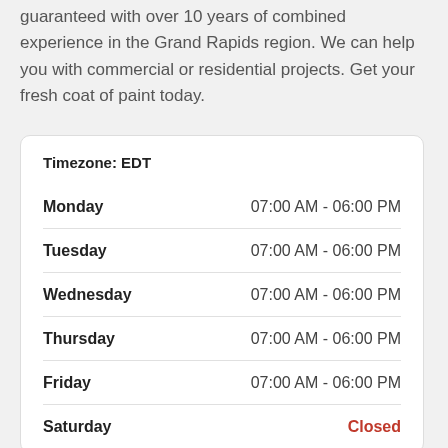guaranteed with over 10 years of combined experience in the Grand Rapids region. We can help you with commercial or residential projects. Get your fresh coat of paint today.
| Day | Hours |
| --- | --- |
| Monday | 07:00 AM - 06:00 PM |
| Tuesday | 07:00 AM - 06:00 PM |
| Wednesday | 07:00 AM - 06:00 PM |
| Thursday | 07:00 AM - 06:00 PM |
| Friday | 07:00 AM - 06:00 PM |
| Saturday | Closed |